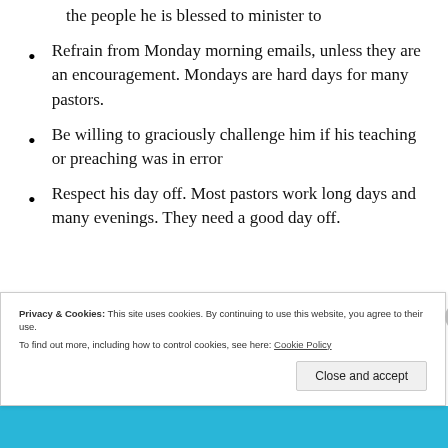the people he is blessed to minister to
Refrain from Monday morning emails, unless they are an encouragement. Mondays are hard days for many pastors.
Be willing to graciously challenge him if his teaching or preaching was in error
Respect his day off. Most pastors work long days and many evenings. They need a good day off.
Privacy & Cookies: This site uses cookies. By continuing to use this website, you agree to their use.
To find out more, including how to control cookies, see here: Cookie Policy